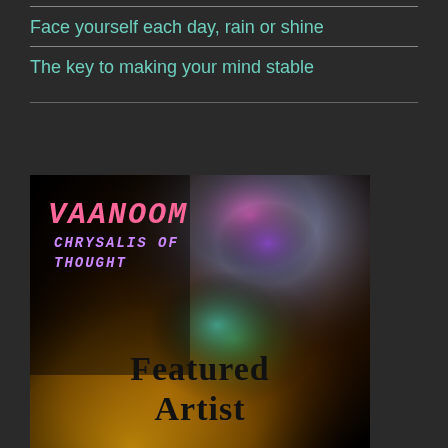Face yourself each day, rain or shine
The key to making your mind stable
[Figure (photo): Album art for VAANOOM - Chrysalis of Thought, showing colorful paint on hands and body with 'Featured Artist' text overlay. Dark background with orange/gold, pink, purple, and green colors.]